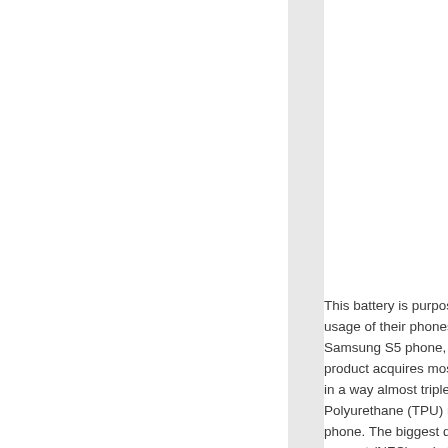[Figure (photo): Left column showing white background area, a vertical light gray divider, and on the right side a partial view of a black Samsung S5 smartphone against a white/light gray background.]
This battery is purpos- usage of their phones Samsung S5 phone, fo- product acquires mos- in a way almost triples Polyurethane (TPU) m- phone. The biggest do- support (NFC) and alt-